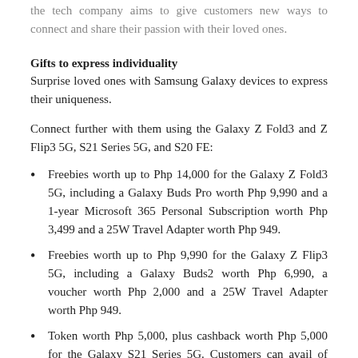the tech company aims to give customers new ways to connect and share their passion with their loved ones.
Gifts to express individuality
Surprise loved ones with Samsung Galaxy devices to express their uniqueness.
Connect further with them using the Galaxy Z Fold3 and Z Flip3 5G, S21 Series 5G, and S20 FE:
Freebies worth up to Php 14,000 for the Galaxy Z Fold3 5G, including a Galaxy Buds Pro worth Php 9,990 and a 1-year Microsoft 365 Personal Subscription worth Php 3,499 and a 25W Travel Adapter worth Php 949.
Freebies worth up to Php 9,990 for the Galaxy Z Flip3 5G, including a Galaxy Buds2 worth Php 6,990, a voucher worth Php 2,000 and a 25W Travel Adapter worth Php 949.
Token worth Php 5,000, plus cashback worth Php 5,000 for the Galaxy S21 Series 5G. Customers can avail of 50% off on the Galaxy Buds2 as well.